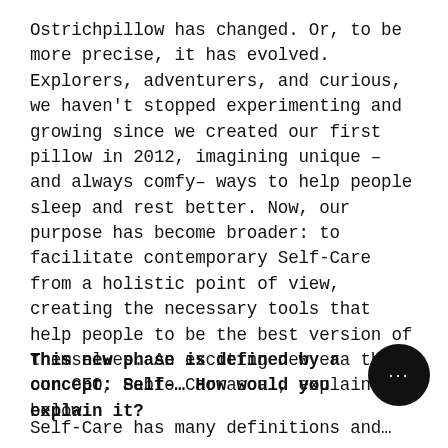Ostrichpillow has changed. Or, to be more precise, it has evolved. Explorers, adventurers, and curious, we haven't stopped experimenting and growing since we created our first pillow in 2012, imagining unique – and always comfy– ways to help people sleep and rest better. Now, our purpose has become broader: to facilitate contemporary Self-Care from a holistic point of view, creating the necessary tools that help people to be the best version of themselves. An exciting new era that our CEO, Pablo Carrascal, explains below.
This new phase is defined by a concept: Self-… How would you explain it?
Self-Care has many definitions and…